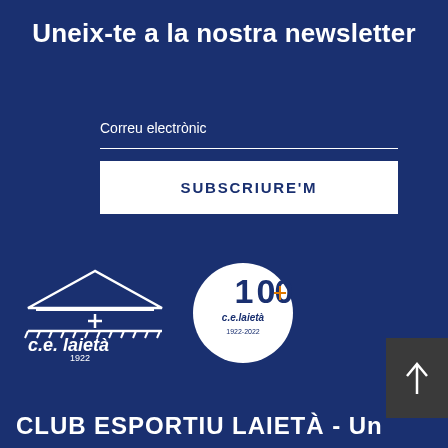Uneix-te a la nostra newsletter
Correu electrònic
SUBSCRIURE'M
[Figure (logo): c.e. laietà club logo with house/building graphic and text '1922']
[Figure (logo): c.e. laietà 100th anniversary circular logo with cross/plus symbol and '1922-2022']
[Figure (other): Dark grey scroll-to-top button with upward arrow]
CLUB ESPORTIU LAIETÀ - Un